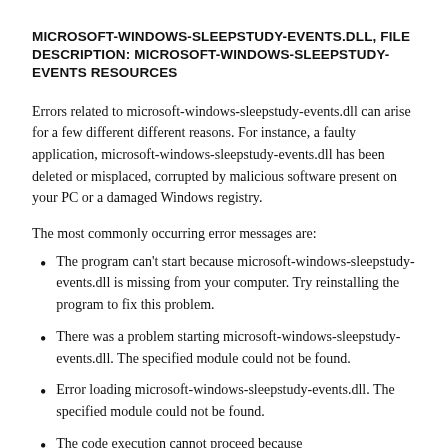MICROSOFT-WINDOWS-SLEEPSTUDY-EVENTS.DLL, FILE DESCRIPTION: MICROSOFT-WINDOWS-SLEEPSTUDY-EVENTS RESOURCES
Errors related to microsoft-windows-sleepstudy-events.dll can arise for a few different different reasons. For instance, a faulty application, microsoft-windows-sleepstudy-events.dll has been deleted or misplaced, corrupted by malicious software present on your PC or a damaged Windows registry.
The most commonly occurring error messages are:
The program can't start because microsoft-windows-sleepstudy-events.dll is missing from your computer. Try reinstalling the program to fix this problem.
There was a problem starting microsoft-windows-sleepstudy-events.dll. The specified module could not be found.
Error loading microsoft-windows-sleepstudy-events.dll. The specified module could not be found.
The code execution cannot proceed because